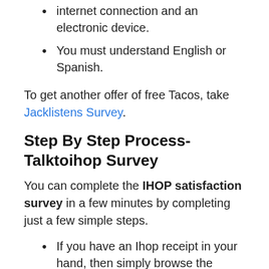internet connection and an electronic device.
You must understand English or Spanish.
To get another offer of free Tacos, take Jacklistens Survey.
Step By Step Process- Talktoihop Survey
You can complete the IHOP satisfaction survey in a few minutes by completing just a few simple steps.
If you have an Ihop receipt in your hand, then simply browse the Official Website @ www.talktoihop.com